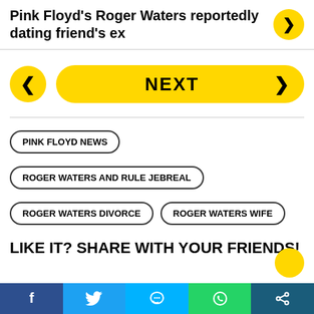Pink Floyd's Roger Waters reportedly dating friend's ex
[Figure (screenshot): Navigation UI with yellow back arrow button, yellow NEXT button with right arrow chevron]
PINK FLOYD NEWS
ROGER WATERS AND RULE JEBREAL
ROGER WATERS DIVORCE
ROGER WATERS WIFE
LIKE IT? SHARE WITH YOUR FRIENDS!
Social share bar: Facebook, Twitter, Messenger, WhatsApp, Share